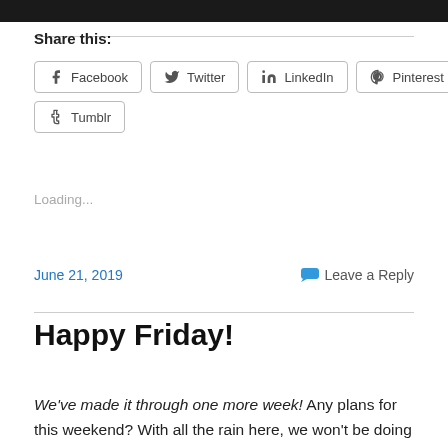[Figure (photo): Dark/black image strip at top of page]
Share this:
Facebook  Twitter  LinkedIn  Pinterest  Tumblr
Loading...
June 21, 2019
Leave a Reply
Happy Friday!
We've made it through one more week! Any plans for this weekend? With all the rain here, we won't be doing any of